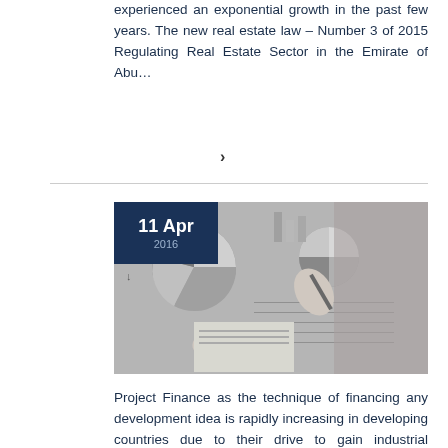experienced an exponential growth in the past few years. The new real estate law – Number 3 of 2015 Regulating Real Estate Sector in the Emirate of Abu…
>
[Figure (photo): Black and white photo of business people reviewing financial charts and documents at a meeting table, with pie charts and bar charts visible in background. Date badge overlay: 11 Apr 2016]
Project Finance as the technique of financing any development idea is rapidly increasing in developing countries due to their drive to gain industrial development and improve infrastructural amenities. The infrastructural projects or projects